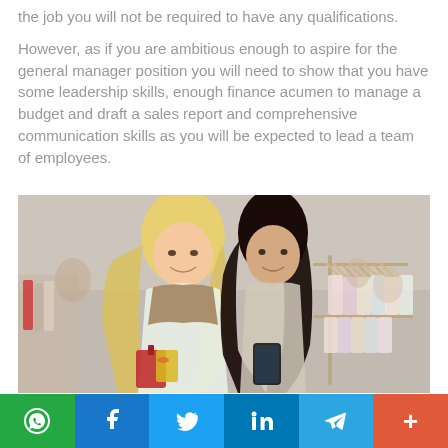the job you will not be required to have any qualifications.
However, as if you are ambitious enough to aspire for the general manager position you will need to show that you have some leadership skills, enough finance acumen to manage a budget and draft a sales report and comprehensive communication skills as you will be expected to lead a team of employees.
[Figure (photo): Two women (one blonde, one brunette) smiling and looking at a smartphone together inside a clothing retail store with racks of clothes visible in the background.]
WhatsApp | Facebook | Twitter | LinkedIn | Telegram | +